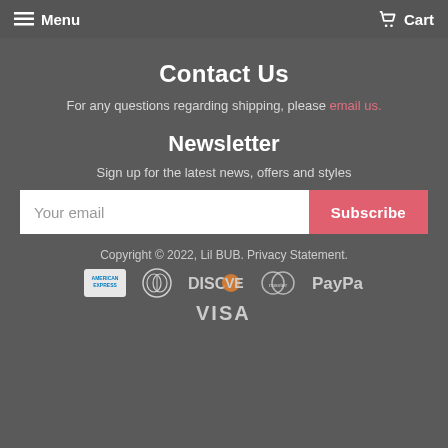Menu  Cart
Contact Us
For any questions regarding shipping, please email us.
Newsletter
Sign up for the latest news, offers and styles
Your email  Subscribe
Copyright © 2022, Lil BUB. Privacy Statement.
[Figure (other): Payment method logos: American Express, Diners Club, Discover, Mastercard, PayPal, Visa]